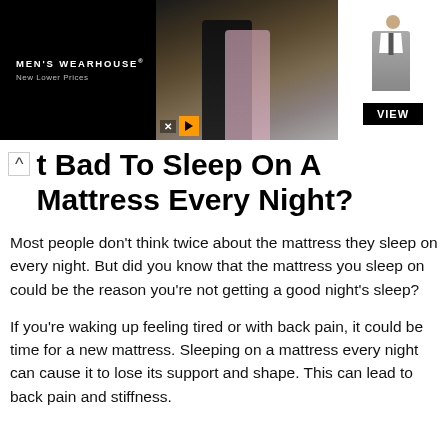[Figure (photo): Men's Wearhouse advertisement banner showing a couple in formal wear (man in dark tuxedo, woman in gown) with a man in a grey suit on the right side and a VIEW button. Black background on left with brand name.]
t Bad To Sleep On A Mattress Every Night?
Most people don't think twice about the mattress they sleep on every night. But did you know that the mattress you sleep on could be the reason you're not getting a good night's sleep?
If you're waking up feeling tired or with back pain, it could be time for a new mattress. Sleeping on a mattress every night can cause it to lose its support and shape. This can lead to back pain and stiffness.